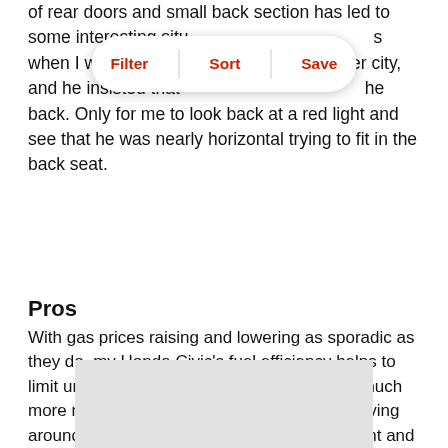of rear doors and small back section has led to some interesting situations when I was driving my 6 foot friend around my city, and he insisted that my passenger ride in the back. Only for me to look back at a red light and see that he was nearly horizontal trying to fit in the back seat.
Pros
With gas prices raising and lowering as sporadic as they do, my Honda Civic's fuel efficiency helps to limit unexpectedly high gas prices and save much more money than I originally expected. Receiving around 35 miles/gallon is extremely convenient and helpful. The safety is another strong suite. When I bought the vehicle, it was already 3+ years old, but recent ratings still toted it as one of the safest small cars on the market. Knowing that I am safe while on the road is extremely important to me as I tend to be quite paranoid about other drivers acting recklessly.
[Figure (other): Gray advertisement or image placeholder box at the bottom of the page]